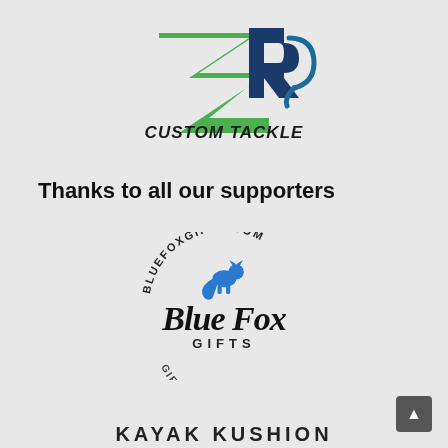[Figure (logo): ZR Custom Tackle logo — green and navy stylized 'ZR' letters with a fish hook, and 'CUSTOM TACKLE' in bold italic lettering below]
Thanks to all our supporters
[Figure (logo): Blue Fox Gifts logo — circular text reading 'BLUEFOXGIFTS.COM' at top and 'GIFTS & APPAREL' at bottom, with a blue fox silhouette, and 'Blue Fox' in large script with 'GIFTS' in caps below]
KAYAK KUSHION